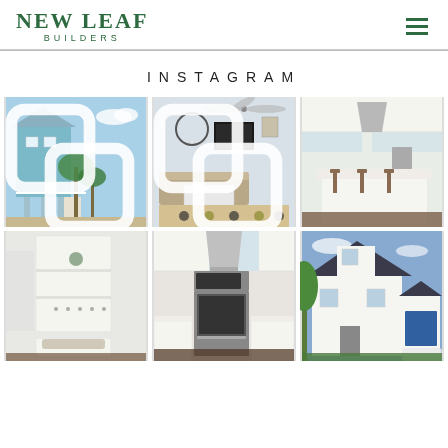[Figure (logo): New Leaf Builders logo in green serif font with hamburger menu icon]
INSTAGRAM
[Figure (photo): Exterior of a blue elevated beach house with palm trees and stairs]
[Figure (photo): Interior living room with ceiling fan, large clock, TV, sectional sofa, and patterned rug]
[Figure (photo): White kitchen with large island, bar stools, and stainless appliances]
[Figure (photo): White built-in mudroom with shelves and bench]
[Figure (photo): White kitchen with stainless steel oven and range hood]
[Figure (photo): Exterior of a white modern farmhouse with blue garage door and trees]